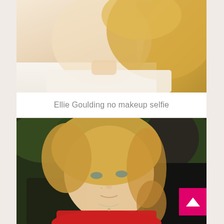[Figure (photo): Partial photo of a woman with long blonde hair wearing a white top, cropped to show face and upper body]
Ellie Goulding no makeup selfie
[Figure (photo): Photo of a young blonde woman wearing a red floral dress, no makeup, looking sideways, outdoors with green foliage in the background and a man in dark shirt behind her]